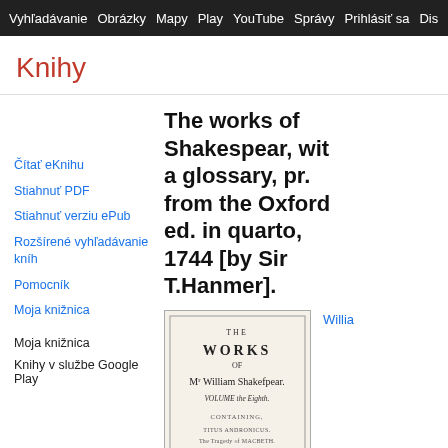Vyhľadávanie Obrázky Mapy Play YouTube Správy PrihlásitSa Dis D
Knihy
Čítať eKnihu
Stiahnuť PDF
Stiahnuť verziu ePub
Rozšírené vyhľadávanie kníh
Pomocník
Moja knižnica
Moja knižnica
Knihy v službe Google Play
The works of Shakespear, with a glossary, pr. from the Oxford ed. in quarto, 1744 [by Sir T.Hanmer].
[Figure (illustration): Old book title page showing: THE WORKS OF Mr William Shakespear. VOLUME the Eighth. CONTAINING, TITUS ANDRONICUS. The Tragedy of MACBETH. TROILUS and CRESSIDA. CYMBELINE.]
Willia